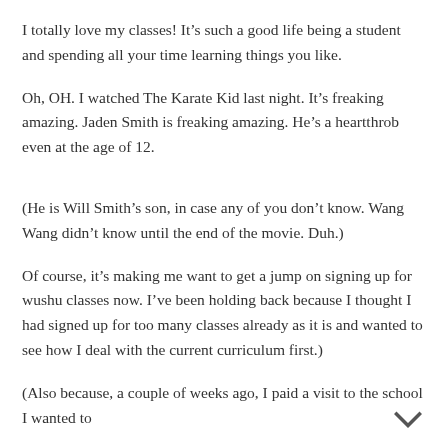I totally love my classes! It’s such a good life being a student and spending all your time learning things you like.
Oh, OH. I watched The Karate Kid last night. It’s freaking amazing. Jaden Smith is freaking amazing. He’s a heartthrob even at the age of 12.
(He is Will Smith’s son, in case any of you don’t know. Wang Wang didn’t know until the end of the movie. Duh.)
Of course, it’s making me want to get a jump on signing up for wushu classes now. I’ve been holding back because I thought I had signed up for too many classes already as it is and wanted to see how I deal with the current curriculum first.)
(Also because, a couple of weeks ago, I paid a visit to the school I wanted to